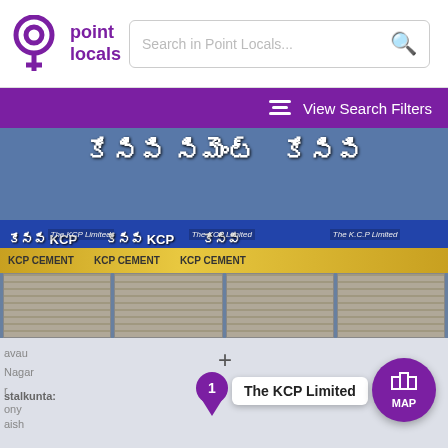[Figure (screenshot): Point Locals app header with logo, search bar, and purple View Search Filters bar]
[Figure (photo): Photograph of KCP Cement store fronts with Telugu script signage showing 'KCP' and 'The KCP Limited' on multiple shuttered storefronts]
[Figure (screenshot): Map view showing a location marker labeled '1 The KCP Limited' with a plus button and a purple MAP button in the bottom right corner]